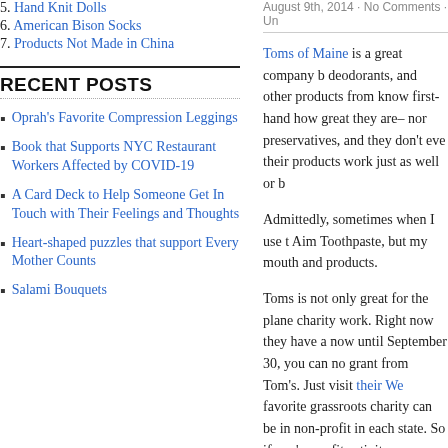5. Hand Knit Dolls
6. American Bison Socks
7. Products Not Made in China
RECENT POSTS
Oprah's Favorite Compression Leggings
Book that Supports NYC Restaurant Workers Affected by COVID-19
A Card Deck to Help Someone Get In Touch with Their Feelings and Thoughts
Heart-shaped puzzles that support Every Mother Counts
Salami Bouquets
August 9th, 2014 · No Comments · Un
Toms of Maine is a great company b deodorants, and other products from know first-hand how great they are– nor preservatives, and they don't eve their products work just as well or b
Admittedly, sometimes when I use t Aim Toothpaste, but my mouth and products.
Toms is not only great for the plane charity work. Right now they have a now until September 30, you can no grant from Tom's. Just visit their We favorite grassroots charity can be in non-profit in each state. So if you're profit activity, your chances of getti